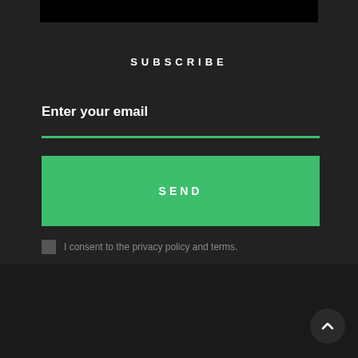[Figure (screenshot): Black bar at top representing a video or image thumbnail]
SUBSCRIBE
Enter your email
SEND
I consent to the privacy policy and terms.
ABOUT
Unwired for Sound explores the wonders and magic of